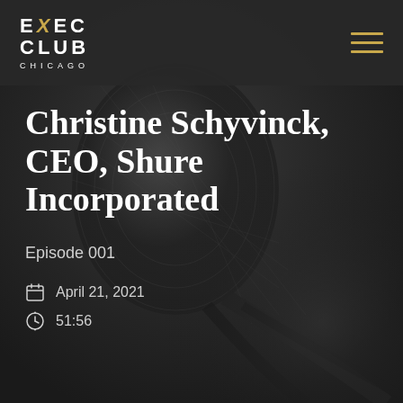[Figure (screenshot): Dark website screenshot for Exec Club Chicago podcast featuring Christine Schyvinck, CEO of Shure Incorporated. Background shows a blurred close-up photo of a professional microphone in dark/monochrome tones. Top header contains the Exec Club Chicago logo on the left and a hamburger menu icon in gold on the right.]
EXEC CLUB CHICAGO
Christine Schyvinck, CEO, Shure Incorporated
Episode 001
April 21, 2021
51:56